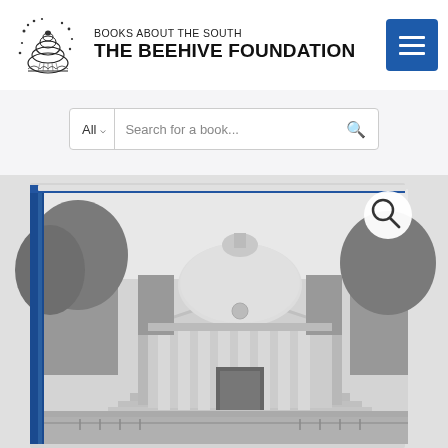[Figure (logo): Beehive Foundation logo — black and white engraving of a beehive with bees]
BOOKS ABOUT THE SOUTH
THE BEEHIVE FOUNDATION
[Figure (screenshot): Search bar with 'All' dropdown and 'Search for a book...' placeholder text and a search icon]
[Figure (photo): Hardcover book showing a black-and-white photograph of a classical domed rotunda building (University of Virginia Rotunda) with columns and trees, with a blue spine. A magnifier zoom icon is overlaid in the top right corner.]